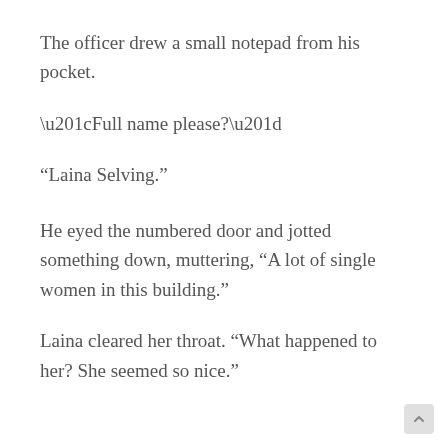The officer drew a small notepad from his pocket.
“Full name please?”
“Laina Selving.”
He eyed the numbered door and jotted something down, muttering, “A lot of single women in this building.”
Laina cleared her throat. “What happened to her? She seemed so nice.”